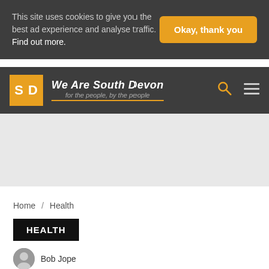This site uses cookies to give you the best ad experience and analyse traffic. Find out more.
Okay, thank you
[Figure (logo): We Are South Devon logo — SD initials in white on orange background, with site title and tagline 'for the people, by the people']
[Figure (other): Gray advertisement placeholder area]
Home / Health
HEALTH
Bob Jope
Have your say on access to